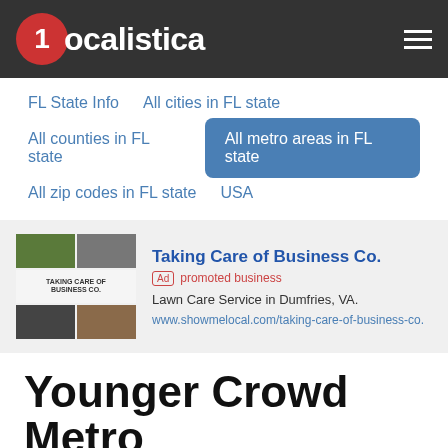1ocalistica
FL State Info
All cities in FL state
All counties in FL state
All metro areas in FL state
All zip codes in FL state
USA
[Figure (photo): Advertisement image for Taking Care of Business Co. showing a collage of lawn care service photos]
Taking Care of Business Co.
Ad promoted business
Lawn Care Service in Dumfries, VA.
www.showmelocal.com/taking-care-of-business-co.
Younger Crowd Metro Areas in Florida State